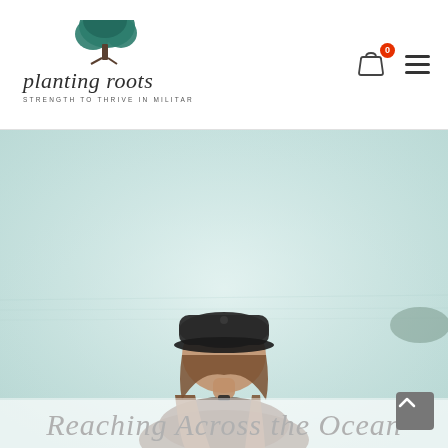[Figure (logo): Planting Roots logo — a teal/dark green tree above the text 'planting roots' in serif font with tagline 'STRENGTH TO THRIVE IN MILITARY LIFE']
[Figure (screenshot): Navigation icons: shopping cart with red badge showing '0', and a hamburger menu icon]
[Figure (photo): Hero image showing a woman from behind wearing a dark baseball cap, looking out at a misty ocean or seascape. The scene is hazy and light teal/bluish-grey.]
Reaching Across the Ocean